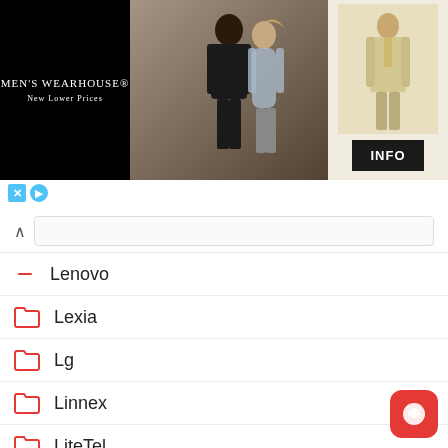[Figure (screenshot): Men's Wearhouse advertisement banner showing couple in formalwear, man in tan suit, and INFO button]
Lenovo
Lexia
Lg
Linnex
LiteTel
Lolo
M-Horse
Magnus
Mango
Mark
Marlax